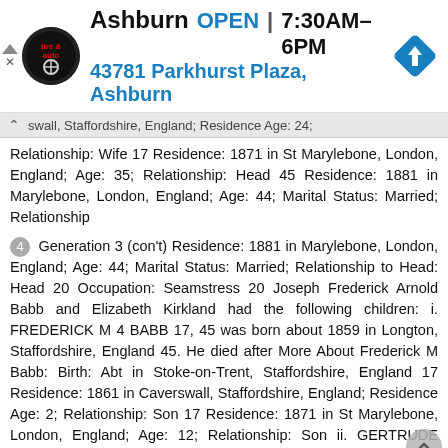[Figure (screenshot): Advertisement banner for Virginia Tire & Auto, Ashburn location. Shows logo, OPEN status, hours 7:30AM-6PM, address 43781 Parkhurst Plaza Ashburn, and a blue navigation diamond icon.]
swall, Staffordshire, England; Residence Age: 24; Relationship: Wife 17 Residence: 1871 in St Marylebone, London, England; Age: 35; Relationship: Head 45 Residence: 1881 in Marylebone, London, England; Age: 44; Marital Status: Married; Relationship
4 Generation 3 (con't) Residence: 1881 in Marylebone, London, England; Age: 44; Marital Status: Married; Relationship to Head: Head 20 Occupation: Seamstress 20 Joseph Frederick Arnold Babb and Elizabeth Kirkland had the following children: i. FREDERICK M 4 BABB 17, 45 was born about 1859 in Longton, Staffordshire, England 45. He died after More About Frederick M Babb: Birth: Abt in Stoke-on-Trent, Staffordshire, England 17 Residence: 1861 in Caverswall, Staffordshire, England; Residence Age: 2; Relationship: Son 17 Residence: 1871 in St Marylebone, London, England; Age: 12; Relationship: Son ii. GERTRUDE ARNOLD BABB 17-20, was born about 1861 in Longdon,